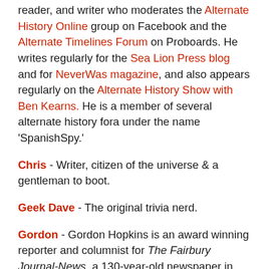reader, and writer who moderates the Alternate History Online group on Facebook and the Alternate Timelines Forum on Proboards. He writes regularly for the Sea Lion Press blog and for NeverWas magazine, and also appears regularly on the Alternate History Show with Ben Kearns. He is a member of several alternate history fora under the name 'SpanishSpy.'
Chris - Writer, citizen of the universe & a gentleman to boot.
Geek Dave - The original trivia nerd.
Gordon - Gordon Hopkins is an award winning reporter and columnist for The Fairbury Journal-News, a 130-year-old newspaper in Jefferson County, Nebraska (He hasn't been working there that entire time.) He has also written a couple of crime novels ("Fraudsters" and the best-selling "Broken") and edited a few crime fiction ebooks...